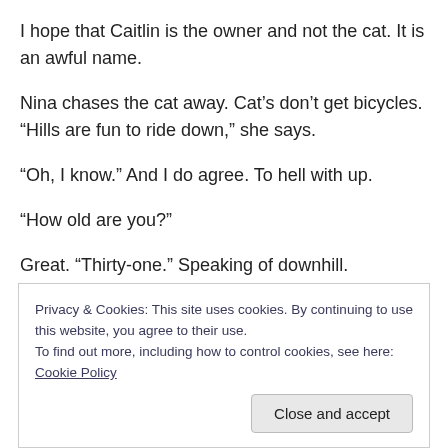I hope that Caitlin is the owner and not the cat. It is an awful name.
Nina chases the cat away. Cat’s don’t get bicycles. “Hills are fun to ride down,” she says.
“Oh, I know.” And I do agree. To hell with up.
“How old are you?”
Great. “Thirty-one.” Speaking of downhill.
“For real?”
Privacy & Cookies: This site uses cookies. By continuing to use this website, you agree to their use.
To find out more, including how to control cookies, see here: Cookie Policy
Close and accept